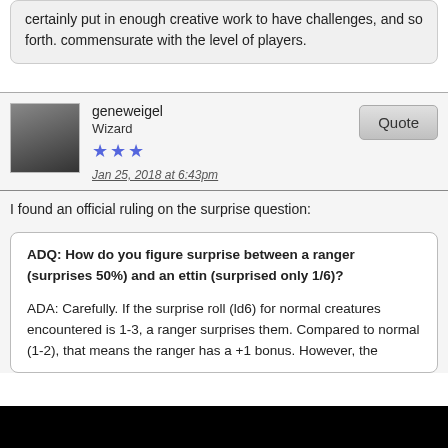certainly put in enough creative work to have challenges, and so forth. commensurate with the level of players.
geneweigel
Wizard
Jan 25, 2018 at 6:43pm
I found an official ruling on the surprise question:
ADQ: How do you figure surprise between a ranger (surprises 50%) and an ettin (surprised only 1/6)?

ADA: Carefully. If the surprise roll (ld6) for normal creatures encountered is 1-3, a ranger surprises them. Compared to normal (1-2), that means the ranger has a +1 bonus. However, the